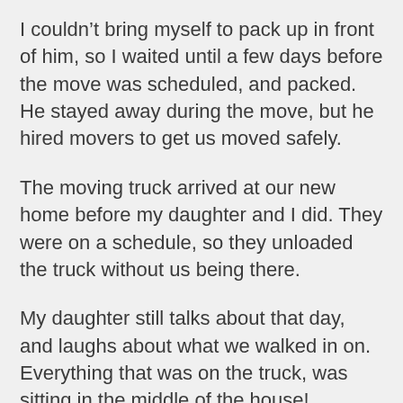I couldn't bring myself to pack up in front of him, so I waited until a few days before the move was scheduled, and packed. He stayed away during the move, but he hired movers to get us moved safely.
The moving truck arrived at our new home before my daughter and I did. They were on a schedule, so they unloaded the truck without us being there.
My daughter still talks about that day, and laughs about what we walked in on. Everything that was on the truck, was sitting in the middle of the house!